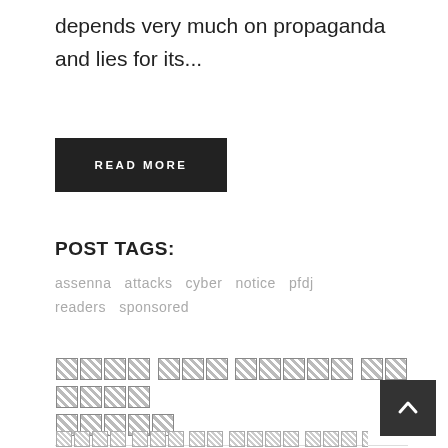depends very much on propaganda and lies for its...
READ MORE
POST TAGS:
assenna  attacks  cyber  notice  pfdj  readers  sponsored
[Ethiopic/unrendered script title]
OCTOBER 13, 2009  12:34 am  [tag in unrendered script]
assenna  0  0  SHARE
[Ethiopic/unrendered script body text]